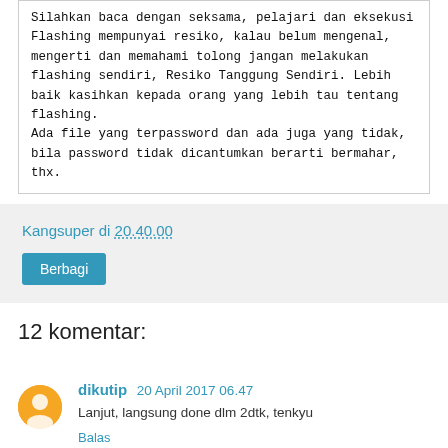Silahkan baca dengan seksama, pelajari dan eksekusi
Flashing mempunyai resiko, kalau belum mengenal, mengerti dan memahami tolong jangan melakukan flashing sendiri, Resiko Tanggung Sendiri. Lebih baik kasihkan kepada orang yang lebih tau tentang flashing.
Ada file yang terpassword dan ada juga yang tidak, bila password tidak dicantumkan berarti bermahar, thx.
Kangsuper di 20.40.00
Berbagi
12 komentar:
dikutip 20 April 2017 06.47
Lanjut, langsung done dlm 2dtk, tenkyu
Balas
Unknown 29 Juni 2017 03.37
pas rar apa min ijin coba.....